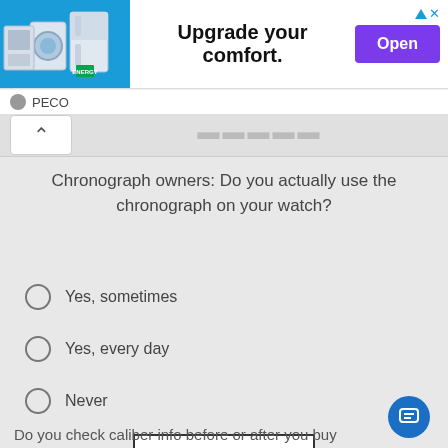[Figure (infographic): Advertisement banner showing home appliances (refrigerator, washer, oven) with text 'Upgrade your comfort.' and a purple 'Open' button. Branded as PECO.]
Chronograph owners: Do you actually use the chronograph on your watch?
Yes, sometimes
Yes, every day
Never
ANSWER
5
Do you check caliber info before or after you buy